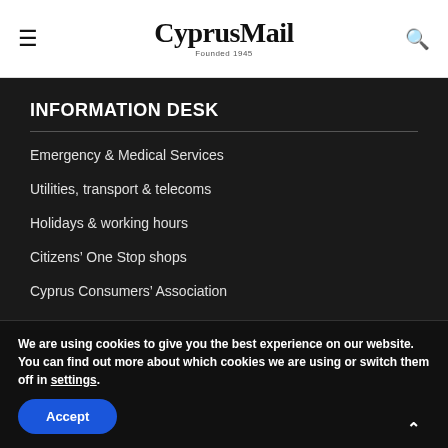CyprusMail Founded 1945
INFORMATION DESK
Emergency & Medical Services
Utilities, transport & telecoms
Holidays & working hours
Citizens' One Stop shops
Cyprus Consumers' Association
We are using cookies to give you the best experience on our website.
You can find out more about which cookies we are using or switch them off in settings.
Accept